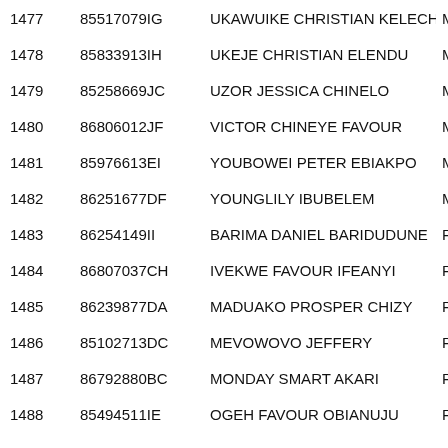| S/N | ID | Name | Dept |
| --- | --- | --- | --- |
| 1477 | 85517079IG | UKAWUIKE CHRISTIAN KELECHI | MIC… |
| 1478 | 85833913IH | UKEJE CHRISTIAN ELENDU | MIC… |
| 1479 | 85258669JC | UZOR JESSICA CHINELO | MIC… |
| 1480 | 86806012JF | VICTOR CHINEYE FAVOUR | MIC… |
| 1481 | 85976613EI | YOUBOWEI PETER EBIAKPO | MIC… |
| 1482 | 86251677DF | YOUNGLILY IBUBELEM | MIC… |
| 1483 | 86254149II | BARIMA DANIEL BARIDUDUNE | PHY… |
| 1484 | 86807037CH | IVEKWE FAVOUR IFEANYI | PHY… |
| 1485 | 86239877DA | MADUAKO PROSPER CHIZY | PHY… |
| 1486 | 85102713DC | MEVOWOVO JEFFERY | PHY… |
| 1487 | 86792880BC | MONDAY SMART AKARI | PHY… |
| 1488 | 85494511IE | OGEH FAVOUR OBIANUJU | PHY… |